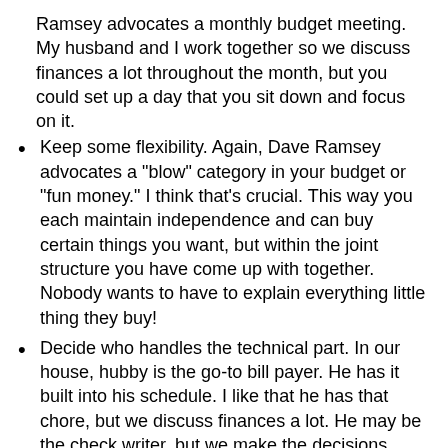Ramsey advocates a monthly budget meeting. My husband and I work together so we discuss finances a lot throughout the month, but you could set up a day that you sit down and focus on it.
Keep some flexibility. Again, Dave Ramsey advocates a "blow" category in your budget or "fun money." I think that's crucial. This way you each maintain independence and can buy certain things you want, but within the joint structure you have come up with together. Nobody wants to have to explain everything little thing they buy!
Decide who handles the technical part. In our house, hubby is the go-to bill payer. He has it built into his schedule. I like that he has that chore, but we discuss finances a lot. He may be the check writer, but we make the decisions together.
How do you and your spouse work out finances? Are you on the same page? How have you worked out the budget and